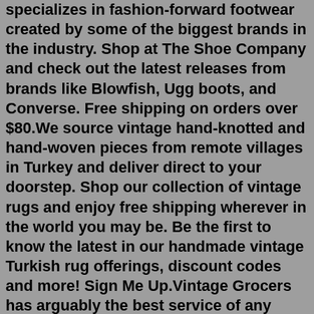specializes in fashion-forward footwear created by some of the biggest brands in the industry. Shop at The Shoe Company and check out the latest releases from brands like Blowfish, Ugg boots, and Converse. Free shipping on orders over $80.We source vintage hand-knotted and hand-woven pieces from remote villages in Turkey and deliver direct to your doorstep. Shop our collection of vintage rugs and enjoy free shipping wherever in the world you may be. Be the first to know the latest in our handmade vintage Turkish rug offerings, discount codes and more! Sign Me Up.Vintage Grocers has arguably the best service of any market I have ever been to. Everyone makes you feel so appreciated and helpful. ... Amazing Store and fantastic customer help. All staff is helpful and knowledgable. Jasmine Schultz Customer. Take a Look at our amazing vintage grocers merchandise. At Vintage grocers, we are all about fashion ...$80.00 Vintage 1930s Black Felt Hat with Long Blue Feather, Audrey New York $75.00 Vintage Embroidered Ivory